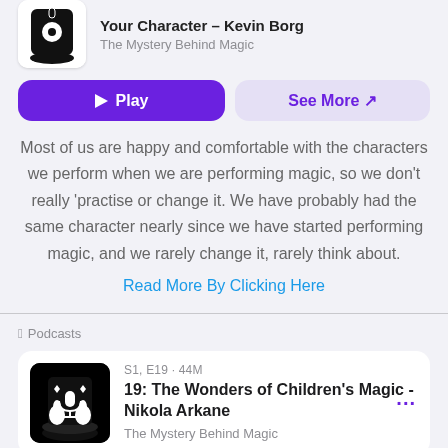The Mystery Behind Magic
Play
See More ↗
Most of us are happy and comfortable with the characters we perform when we are performing magic, so we don't really 'practise or change it. We have probably had the same character nearly since we have started performing magic, and we rarely change it, rarely think about.
Read More By Clicking Here
Podcasts
S1, E19 · 44M
19: The Wonders of Children's Magic - Nikola Arkane
The Mystery Behind Magic